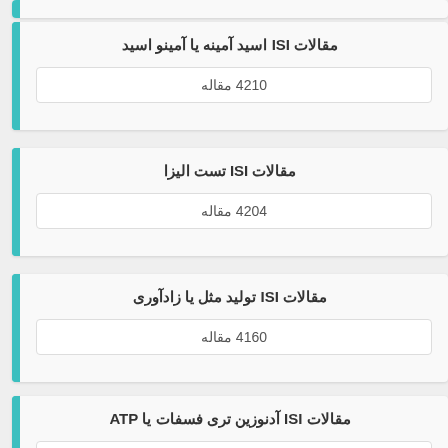مقالات ISI اسید آمینه یا آمینو اسید
4210 مقاله
مقالات ISI تست الیزا
4204 مقاله
مقالات ISI تولید مثل یا زادآوری
4160 مقاله
مقالات ISI آدنوزین تری فسفات یا ATP
4142 مقاله